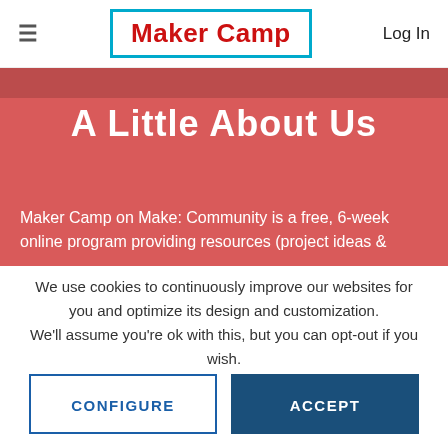≡   Maker Camp   Log In
[Figure (screenshot): Hero section with reddish-pink background showing 'A Little About Us' title and partial text 'Maker Camp on Make: Community is a free, 6-week online program providing resources (project ideas &']
We use cookies to continuously improve our websites for you and optimize its design and customization.
We'll assume you're ok with this, but you can opt-out if you wish.
CONFIGURE
ACCEPT